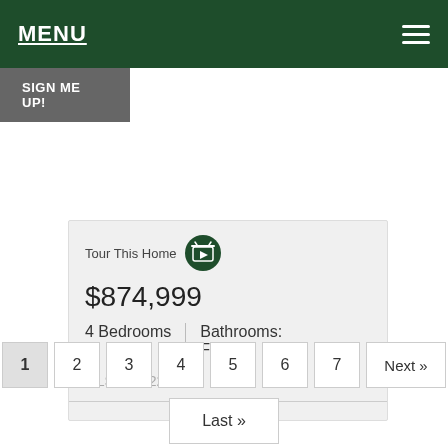MENU
SIGN ME UP!
Tour This Home
$874,999
4 Bedrooms | Bathrooms: Full 3
MLS #202225071
1 2 3 4 5 6 7 Next »
Last »